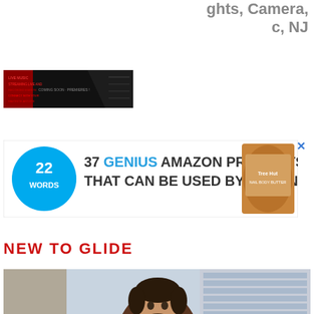ghts, Camera,
c, NJ
[Figure (photo): Small dark promotional banner image with red and white text elements]
[Figure (infographic): Advertisement banner: 22 Words logo, '37 GENIUS AMAZON PRODUCTS THAT CAN BE USED BY ANYONE' with product photo (Tree Hut nail body butter jar)]
NEW TO GLIDE
[Figure (photo): Young man with beard sitting casually, wearing brown leather jacket over white graphic t-shirt and dark pants, urban concrete background with glass building. A CLOSE button overlay and white box at bottom.]